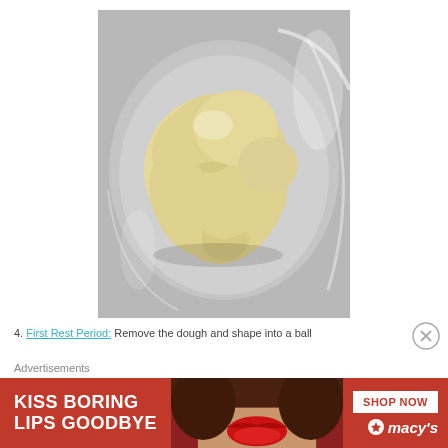[Figure (photo): Overhead view of bread dough ball in a stainless steel mixing bowl, viewed from above. The dough is pale yellow/cream colored and lumpy, sitting in a silver/grey metal bowl.]
4. First Rest Period: Remove the dough and shape into a ball
Advertisements
[Figure (photo): Macy's advertisement banner showing 'KISS BORING LIPS GOODBYE' with a woman's face with red lips on the left, and 'SHOP NOW' button with Macy's star logo on the right, red background.]